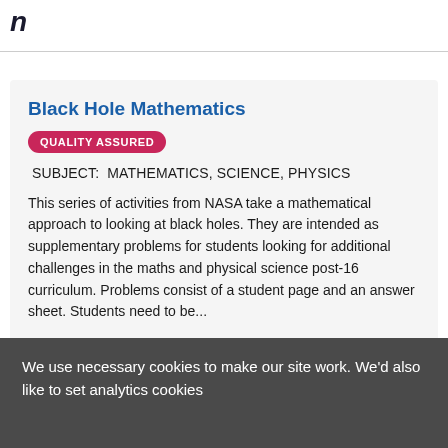Black Hole Mathematics
QUALITY ASSURED
SUBJECT:  MATHEMATICS, SCIENCE, PHYSICS
This series of activities from NASA take a mathematical approach to looking at black holes. They are intended as supplementary problems for students looking for additional challenges in the maths and physical science post-16 curriculum. Problems consist of a student page and an answer sheet. Students need to be...
We use necessary cookies to make our site work. We'd also like to set analytics cookies to help us improve it.